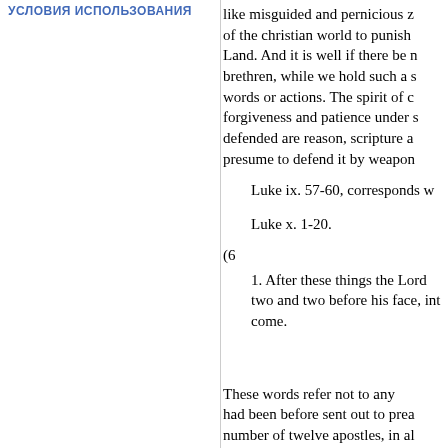УСЛОВИЯ ИСПОЛЬЗОВАНИЯ
like misguided and pernicious z of the christian world to punish Land. And it is well if there be n brethren, while we hold such a s words or actions. The spirit of c forgiveness and patience under s defended are reason, scripture a presume to defend it by weapon
Luke ix. 57-60, corresponds w
Luke x. 1-20.
(6
1. After these things the Lord two and two before his face, int come.
These words refer not to any had been before sent out to prea number of twelve apostles, in al seventy disciples, to go before h Moses, by the direction of God,